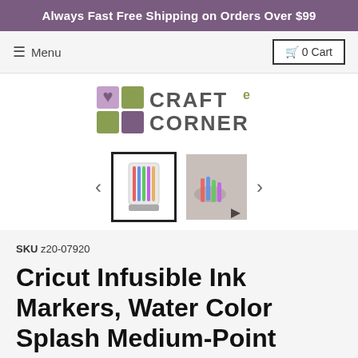Always Fast Free Shipping on Orders Over $99
≡ Menu   🛒 0 Cart
[Figure (logo): Craft e Corner logo with decorative squares in olive green and purple, stylized letter e in green]
[Figure (photo): Two product thumbnails: first shows Cricut Infusible Ink Markers in a container (selected, with black border), second shows markers being used on a surface (with video play indicator)]
SKU z20-07920
Cricut Infusible Ink Markers, Water Color Splash Medium-Point Markers (10), 5 count